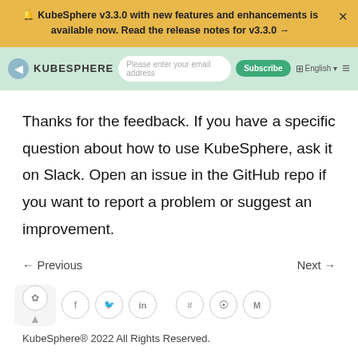🔔 KubeSphere v3.3.0 with new features and enhancements is available now. Read the release notes for v3.3.0 →
[Figure (screenshot): KubeSphere navigation bar with email subscribe input, Subscribe button, English language selector, and hamburger menu on a mint green background]
Thanks for the feedback. If you have a specific question about how to use KubeSphere, ask it on Slack. Open an issue in the GitHub repo if you want to report a problem or suggest an improvement.
← Previous    Next →
[Figure (other): Social media icons row: WeChat, Facebook, Twitter, LinkedIn, Slack, GitHub, Medium; with a back-to-top button]
KubeSphere® 2022 All Rights Reserved.